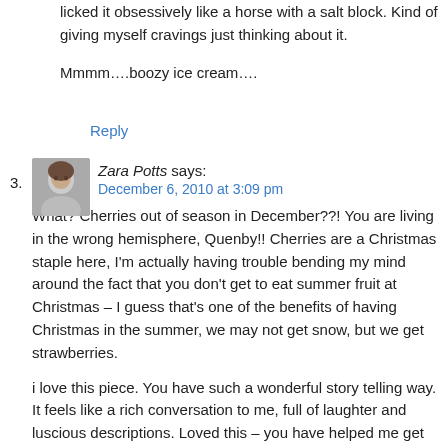licked it obsessively like a horse with a salt block. Kind of giving myself cravings just thinking about it.
Mmmm….boozy ice cream….
Reply
Zara Potts says:
December 6, 2010 at 3:09 pm
What? Cherries out of season in December??! You are living in the wrong hemisphere, Quenby!! Cherries are a Christmas staple here, I'm actually having trouble bending my mind around the fact that you don't get to eat summer fruit at Christmas – I guess that's one of the benefits of having Christmas in the summer, we may not get snow, but we get strawberries.
i love this piece. You have such a wonderful story telling way. It feels like a rich conversation to me, full of laughter and luscious descriptions. Loved this – you have helped me get into the yuletide spirit with your confectioner's